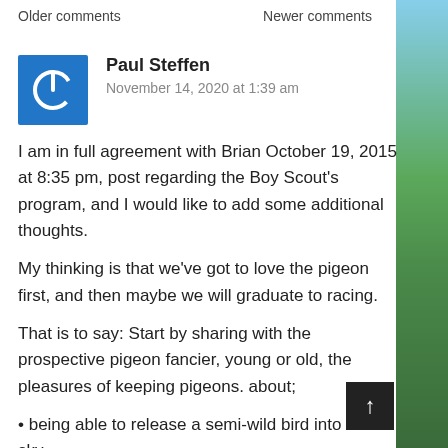Older comments	Newer comments
[Figure (illustration): Blue and green nature/landscape image strip on the right side of the page]
Paul Steffen
November 14, 2020 at 1:39 am
I am in full agreement with Brian October 19, 2015 at 8:35 pm, post regarding the Boy Scout's program, and I would like to add some additional thoughts.
My thinking is that we've got to love the pigeon first, and then maybe we will graduate to racing.
That is to say: Start by sharing with the prospective pigeon fancier, young or old, the pleasures of keeping pigeons. about;
• being able to release a semi-wild bird into the sky,